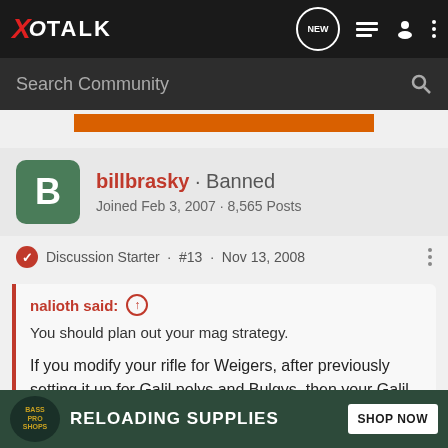XO TALK — navigation bar with logo, NEW, list icon, person icon, more options
Search Community
[Figure (other): Orange banner strip at top of content area]
billbrasky · Banned
Joined Feb 3, 2007 · 8,565 Posts
Discussion Starter · #13 · Nov 13, 2008
nalioth said: ↑
You should plan out your mag strategy.

If you modify your rifle for Weigers, after previously setting it up for Galil polys and Bulgys, then your Galil polys and Bulgarians will probably become loose and floppity.
[Figure (other): Bass Pro Shops ad banner — RELOADING SUPPLIES — SHOP NOW]